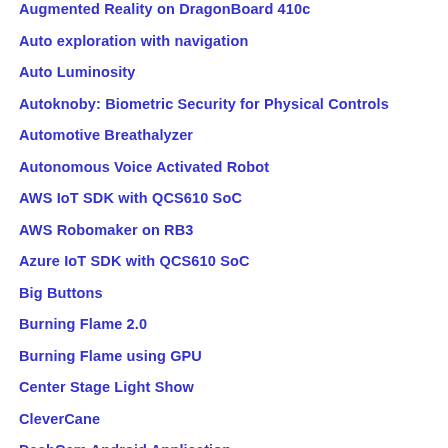Augmented Reality on DragonBoard 410c
Auto exploration with navigation
Auto Luminosity
Autoknoby: Biometric Security for Physical Controls
Automotive Breathalyzer
Autonomous Voice Activated Robot
AWS IoT SDK with QCS610 SoC
AWS Robomaker on RB3
Azure IoT SDK with QCS610 SoC
Big Buttons
Burning Flame 2.0
Burning Flame using GPU
Center Stage Light Show
CleverCane
DashCam Android Application
DashCam ML Model Training
DeepLabV3+ Android App
DLNA Media Server / Client Solutions
Dragon Detector